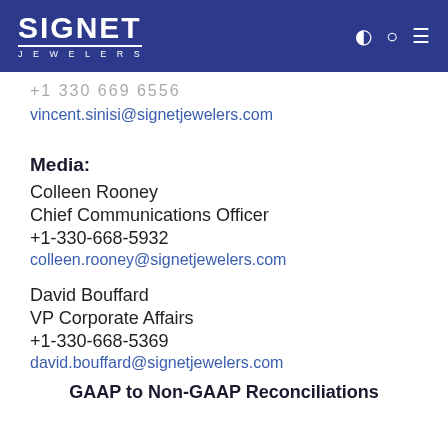[Figure (logo): Signet Jewelers logo in white on blue header bar with navigation icons]
+1 330 669 6556
vincent.sinisi@signetjewelers.com
Media:
Colleen Rooney
Chief Communications Officer
+1-330-668-5932
colleen.rooney@signetjewelers.com
David Bouffard
VP Corporate Affairs
+1-330-668-5369
david.bouffard@signetjewelers.com
GAAP to Non-GAAP Reconciliations